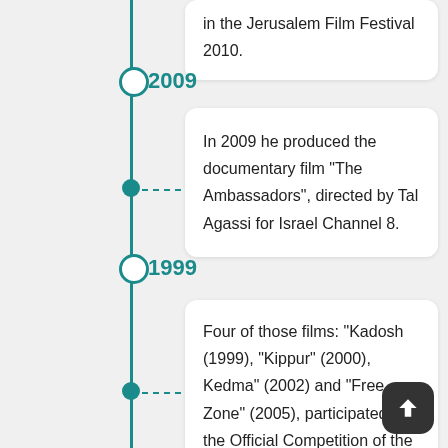in the Jerusalem Film Festival 2010.
2009
In 2009 he produced the documentary film "The Ambassadors", directed by Tal Agassi for Israel Channel 8.
1999
Four of those films: "Kadosh (1999), "Kippur" (2000), Kedma" (2002) and "Free Zone" (2005), participated in the Official Competition of the Cannes Film Festival (in which Moskovitch was the artistic consultant and the casting director). Moskovitch was the casting director in the